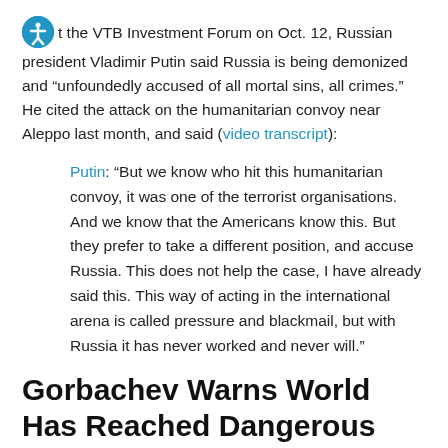At the VTB Investment Forum on Oct. 12, Russian president Vladimir Putin said Russia is being demonized and "unfoundedly accused of all mortal sins, all crimes." He cited the attack on the humanitarian convoy near Aleppo last month, and said (video transcript):
Putin: "But we know who hit this humanitarian convoy, it was one of the terrorist organisations. And we know that the Americans know this. But they prefer to take a different position, and accuse Russia. This does not help the case, I have already said this. This way of acting in the international arena is called pressure and blackmail, but with Russia it has never worked and never will."
Gorbachev Warns World Has Reached Dangerous Point